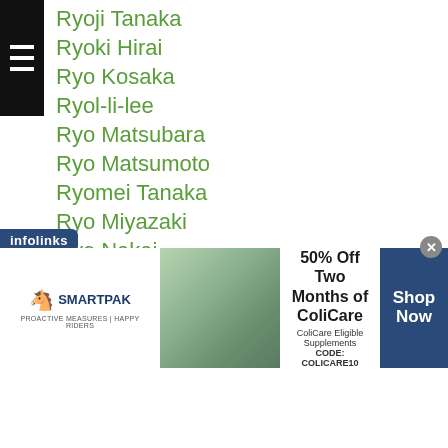Ryoji Tanaka
Ryoki Hirai
Ryo Kosaka
Ryol-li-lee
Ryo Matsubara
Ryo Matsumoto
Ryomei Tanaka
Ryo Miyazaki
Ryo Nakai
Ryo Narizuka
Ryo Sagawa
Ryo Sasaki
Ryosuke Iwasa
Ryosuke Maruki
Ryosuke Nasu
Ryosuke Nishida
[Figure (infographic): SmartPak advertisement banner: 50% Off Two Months of ColiCare, ColiCare Eligible Supplements, CODE: COLICARE10, Shop Now button]